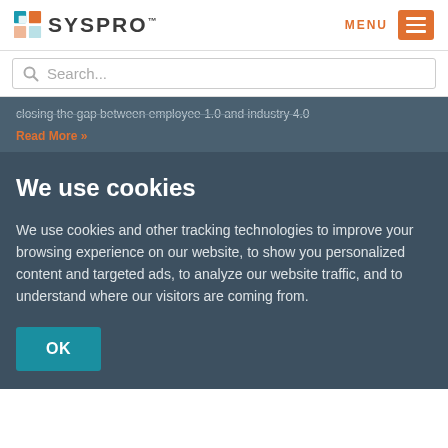SYSPRO — MENU
Search...
closing the gap between employee 1.0 and industry 4.0
Read More »
We use cookies
We use cookies and other tracking technologies to improve your browsing experience on our website, to show you personalized content and targeted ads, to analyze our website traffic, and to understand where our visitors are coming from.
OK